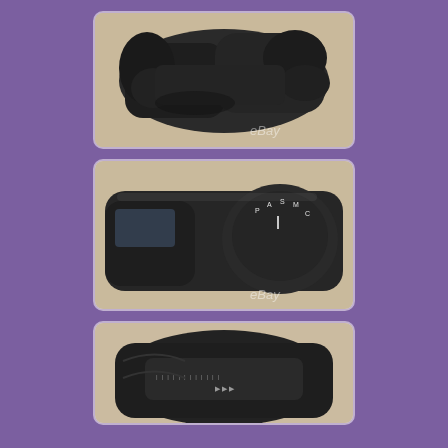[Figure (photo): Close-up photo of black plastic camera or electronic device component, viewed from above, showing ergonomic grip shape. eBay watermark visible.]
[Figure (photo): Close-up photo of black plastic camera or electronic device dial/control knob with mode markings visible. eBay watermark visible.]
[Figure (photo): Close-up photo of black plastic camera or electronic device component viewed from different angle, showing internal markings.]